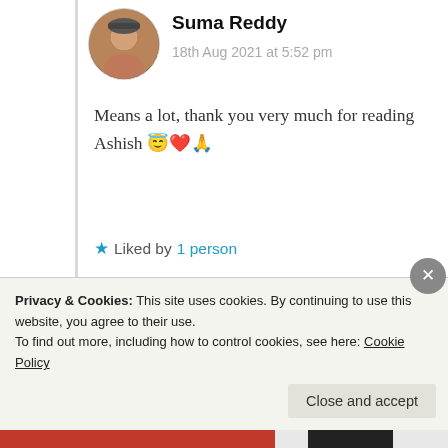Suma Reddy
18th Aug 2021 at 5:52 pm
Means a lot, thank you very much for reading Ashish 😇❤️🙏
★ Liked by 1 person
Log in to Reply
rajkkhoja
Privacy & Cookies: This site uses cookies. By continuing to use this website, you agree to their use.
To find out more, including how to control cookies, see here: Cookie Policy
Close and accept